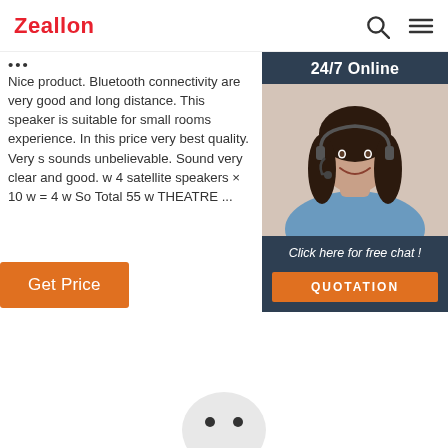Zeallon
...
Nice product. Bluetooth connectivity are very good and long distance. This speaker is suitable for small rooms experience. In this price very best quality. Very s sounds unbelievable. Sound very clear and good. w 4 satellite speakers × 10 w = 4 w So Total 55 w THEATRE ...
Get Price
[Figure (photo): 24/7 Online customer service widget showing a woman with a headset smiling, with 'Click here for free chat!' text and a QUOTATION button]